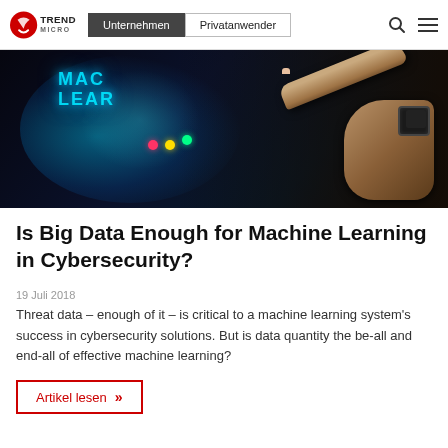Trend Micro | Unternehmen | Privatanwender
[Figure (photo): A hand with finger pointing at a glowing futuristic holographic interface showing 'MACHINE LEARNING' text with blue neon glow effect against dark background.]
Is Big Data Enough for Machine Learning in Cybersecurity?
19 Juli 2018
Threat data – enough of it – is critical to a machine learning system's success in cybersecurity solutions. But is data quantity the be-all and end-all of effective machine learning?
Artikel lesen